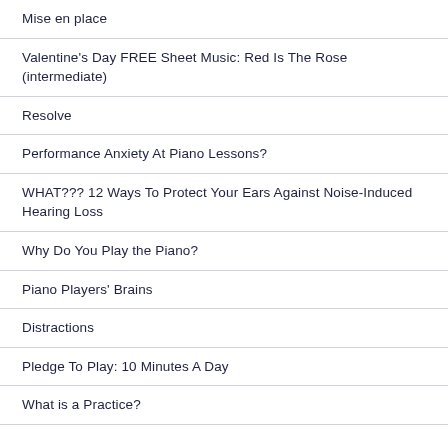Mise en place
Valentine's Day FREE Sheet Music: Red Is The Rose (intermediate)
Resolve
Performance Anxiety At Piano Lessons?
WHAT??? 12 Ways To Protect Your Ears Against Noise-Induced Hearing Loss
Why Do You Play the Piano?
Piano Players' Brains
Distractions
Pledge To Play: 10 Minutes A Day
What is a Practice?